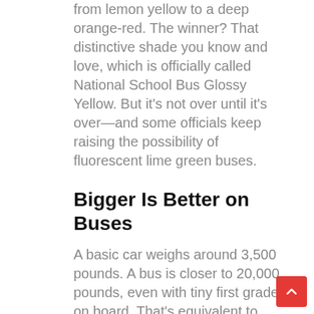from lemon yellow to a deep orange-red. The winner? That distinctive shade you know and love, which is officially called National School Bus Glossy Yellow. But it's not over until it's over—and some officials keep raising the possibility of fluorescent lime green buses.
Bigger Is Better on Buses
A basic car weighs around 3,500 pounds. A bus is closer to 20,000 pounds, even with tiny first graders on board. That's equivalent to about three